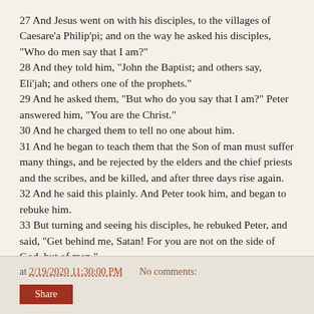27 And Jesus went on with his disciples, to the villages of Caesare'a Philip'pi; and on the way he asked his disciples, "Who do men say that I am?" 28 And they told him, "John the Baptist; and others say, Eli'jah; and others one of the prophets." 29 And he asked them, "But who do you say that I am?" Peter answered him, "You are the Christ." 30 And he charged them to tell no one about him. 31 And he began to teach them that the Son of man must suffer many things, and be rejected by the elders and the chief priests and the scribes, and be killed, and after three days rise again. 32 And he said this plainly. And Peter took him, and began to rebuke him. 33 But turning and seeing his disciples, he rebuked Peter, and said, "Get behind me, Satan! For you are not on the side of God, but of men."
at 2/19/2020 11:30:00 PM   No comments:   Share